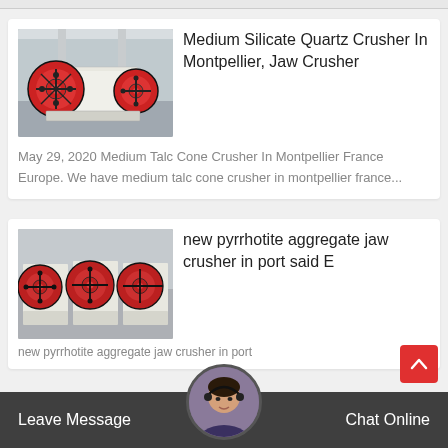[Figure (photo): Industrial jaw crusher machine in a factory setting, with red and black circular flywheel components visible.]
Medium Silicate Quartz Crusher In Montpellier, Jaw Crusher
May 29, 2020 Medium Talc Cone Crusher In Montpellier France Europe. We have medium talc cone crusher in montpellier france...
[Figure (photo): Multiple jaw crusher machines lined up in a factory, with red circular flywheels prominently visible.]
new pyrrhotite aggregate jaw crusher in port said E
new pyrrhotite aggregate jaw crusher in port
Leave Message   Chat Online